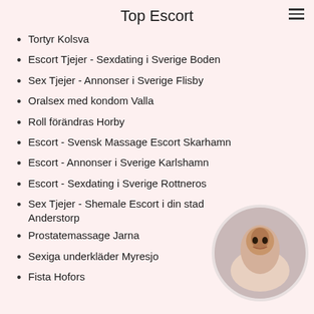Top Escort
Tortyr Kolsva
Escort Tjejer - Sexdating i Sverige Boden
Sex Tjejer - Annonser i Sverige Flisby
Oralsex med kondom Valla
Roll förändras Horby
Escort - Svensk Massage Escort Skarhamn
Escort - Annonser i Sverige Karlshamn
Escort - Sexdating i Sverige Rottneros
Sex Tjejer - Shemale Escort i din stad Anderstorp
Prostatemassage Jarna
Sexiga underkläder Myresjo
Fista Hofors
[Figure (photo): Circular thumbnail photo of a woman with dark hair]